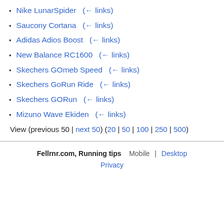Nike LunarSpider  (← links)
Saucony Cortana  (← links)
Adidas Adios Boost  (← links)
New Balance RC1600  (← links)
Skechers GOmeb Speed  (← links)
Skechers GoRun Ride  (← links)
Skechers GORun  (← links)
Mizuno Wave Ekiden  (← links)
View (previous 50 | next 50) (20 | 50 | 100 | 250 | 500)
Fellrnr.com, Running tips   Mobile | Desktop
Privacy